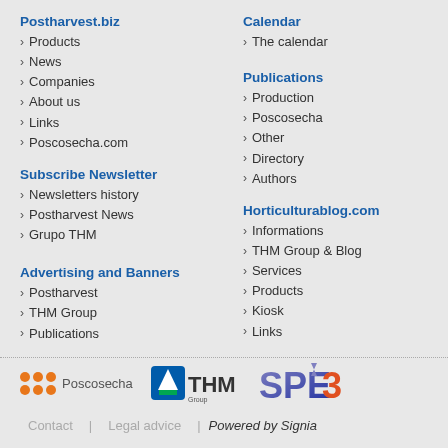Postharvest.biz
Products
News
Companies
About us
Links
Poscosecha.com
Calendar
The calendar
Subscribe Newsletter
Newsletters history
Postharvest News
Grupo THM
Publications
Production
Poscosecha
Other
Directory
Authors
Advertising and Banners
Postharvest
THM Group
Publications
Horticulturablog.com
Informations
THM Group & Blog
Services
Products
Kiosk
Links
[Figure (logo): Poscosecha logo with orange dots grid and text]
[Figure (logo): THM Group logo with blue/green emblem and THM text]
[Figure (logo): SPE3 logo in blue/purple gradient]
Contact | Legal advice | Powered by Signia